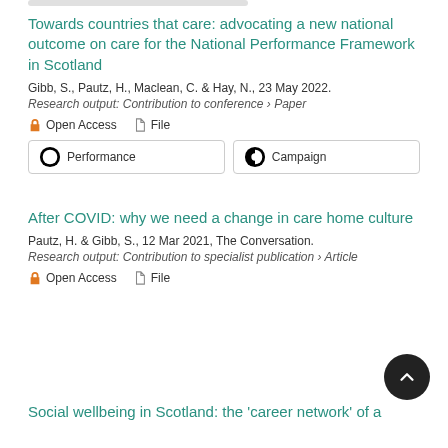Towards countries that care: advocating a new national outcome on care for the National Performance Framework in Scotland
Gibb, S., Pautz, H., Maclean, C. & Hay, N., 23 May 2022.
Research output: Contribution to conference › Paper
Open Access   File
Performance   Campaign
After COVID: why we need a change in care home culture
Pautz, H. & Gibb, S., 12 Mar 2021, The Conversation.
Research output: Contribution to specialist publication › Article
Open Access   File
Social wellbeing in Scotland: the 'career network' of a